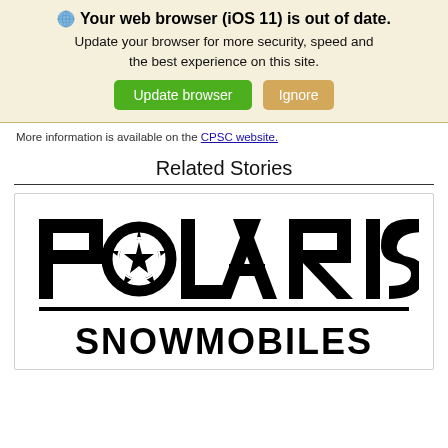Your web browser (iOS 11) is out of date. Update your browser for more security, speed and the best experience on this site.
More information is available on the CPSC website.
Related Stories
[Figure (logo): Polaris Snowmobiles logo - black text on white background showing 'POLARIS' with a star/compass rose replacing the O, and 'SNOWMOBILES' below a horizontal line]